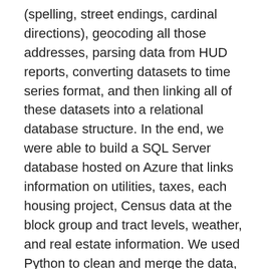(spelling, street endings, cardinal directions), geocoding all those addresses, parsing data from HUD reports, converting datasets to time series format, and then linking all of these datasets into a relational database structure. In the end, we were able to build a SQL Server database hosted on Azure that links information on utilities, taxes, each housing project, Census data at the block group and tract levels, weather, and real estate information. We used Python to clean and merge the data, ArcGIS for some spatial exploration, and RStudio for preliminary analysis. While we didn't come away with many tangible insights to share with the city, we created the infrastructure necessary to transition into the analysis phase of the project. The data have come a long way, and we can't thank everyone involved with the CDS program enough for giving us the opportunity to work with real data that will be